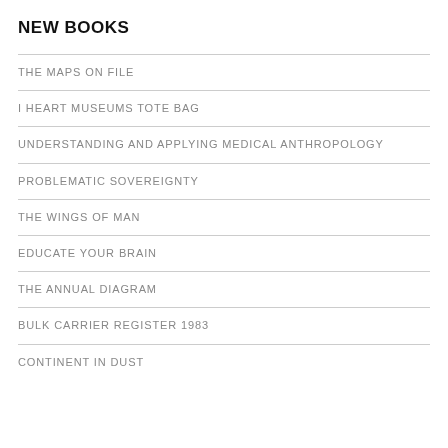NEW BOOKS
THE MAPS ON FILE
I HEART MUSEUMS TOTE BAG
UNDERSTANDING AND APPLYING MEDICAL ANTHROPOLOGY
PROBLEMATIC SOVEREIGNTY
THE WINGS OF MAN
EDUCATE YOUR BRAIN
THE ANNUAL DIAGRAM
BULK CARRIER REGISTER 1983
CONTINENT IN DUST